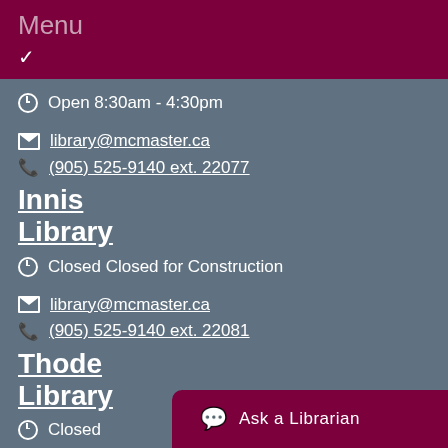Menu
Open 8:30am - 4:30pm
library@mcmaster.ca
(905) 525-9140 ext. 22077
Innis Library
Closed Closed for Construction
library@mcmaster.ca
(905) 525-9140 ext. 22081
Thode Library
Closed
library@mcmaster.ca
Ask a Librarian